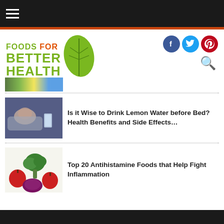Foods For Better Health
[Figure (screenshot): Person sleeping next to a glass of water article thumbnail]
Is it Wise to Drink Lemon Water before Bed? Health Benefits and Side Effects…
[Figure (photo): Antihistamine foods: broccoli, apples, red cabbage on white background]
Top 20 Antihistamine Foods that Help Fight Inflammation